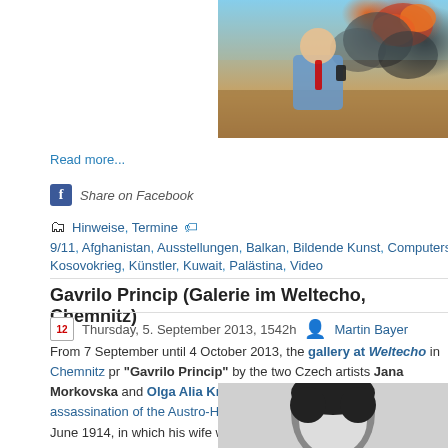[Figure (photo): Man in blue shirt taking a selfie in front of explosions and dark smoke clouds]
Read more...
Share on Facebook
Hinweise, Termine
9/11, Afghanistan, Ausstellungen, Balkan, Bildende Kunst, Computerspiele, Fotografie, Ir Kosovokrieg, Künstler, Kuwait, Palästina, Video
Gavrilo Princip (Galerie im Weltecho, Chemnitz)
Thursday, 5. September 2013, 1542h   Martin Bayer
From 7 September until 4 October 2013, the gallery at Weltecho in Chemnitz pr "Gavrilo Princip" by the two Czech artists Jana Morkovska and Olga Alia Kru address the historic events of the assassination of the Austro-Hungarian heir app Ferdinand on 28 June 1914, in which his wife was killed, too. This assassination chain of events that led to the First World War.
[Figure (photo): Black and white portrait photo of a person with dark hair]